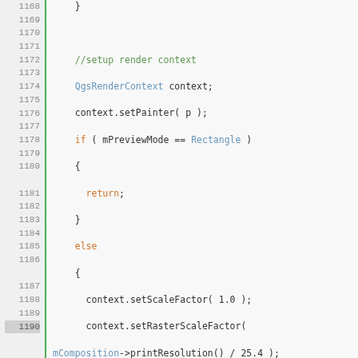[Figure (screenshot): Source code viewer showing C++ code lines 1168-1197 with syntax highlighting. Green vertical bar on left, line numbers in grey column, code with colored syntax highlighting: orange keywords, blue types, green comments, dark text for other code.]